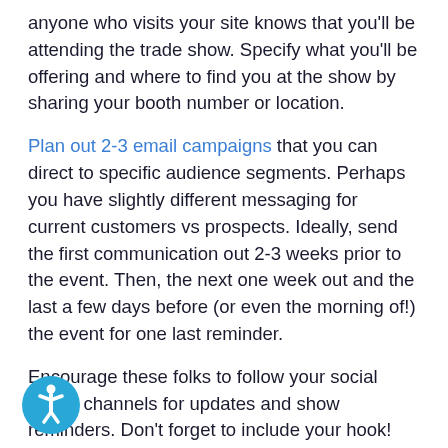anyone who visits your site knows that you'll be attending the trade show. Specify what you'll be offering and where to find you at the show by sharing your booth number or location.
Plan out 2-3 email campaigns that you can direct to specific audience segments. Perhaps you have slightly different messaging for current customers vs prospects. Ideally, send the first communication out 2-3 weeks prior to the event. Then, the next one week out and the last a few days before (or even the morning of!) the event for one last reminder.
Encourage these folks to follow your social media channels for updates and show reminders. Don't forget to include your hook!
[Figure (illustration): Teal/blue circular accessibility icon with a white figure with raised arm]